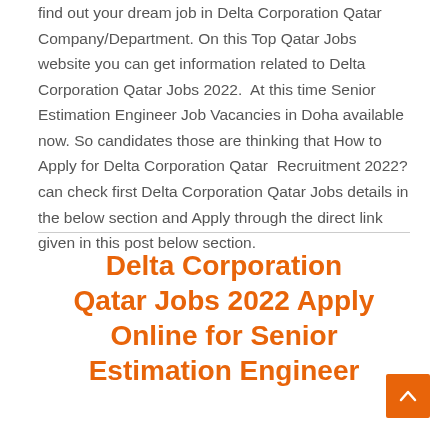find out your dream job in Delta Corporation Qatar Company/Department. On this Top Qatar Jobs website you can get information related to Delta Corporation Qatar Jobs 2022.  At this time Senior Estimation Engineer Job Vacancies in Doha available now. So candidates those are thinking that How to Apply for Delta Corporation Qatar  Recruitment 2022? can check first Delta Corporation Qatar Jobs details in the below section and Apply through the direct link given in this post below section.
Delta Corporation Qatar Jobs 2022 Apply Online for Senior Estimation Engineer